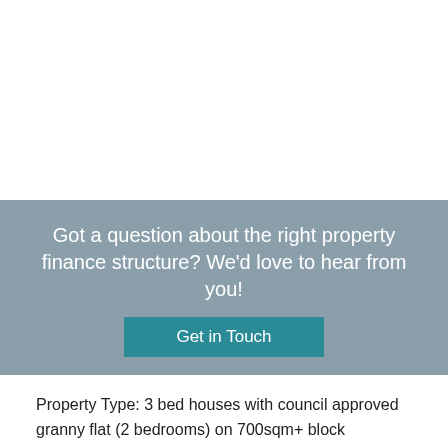[Figure (photo): White space / property photo area (image not shown)]
Got a question about the right property finance structure? We'd love to hear from you!
Get in Touch
Property Type: 3 bed houses with council approved granny flat (2 bedrooms) on 700sqm+ block
Purchase Price: $815,000
Rent: $670 per week